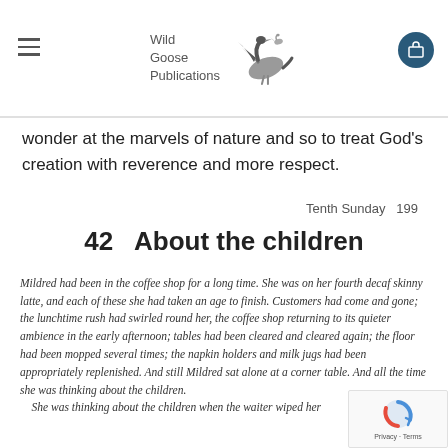Wild Goose Publications
wonder at the marvels of nature and so to treat God's creation with reverence and more respect.
Tenth Sunday  199
42  About the children
Mildred had been in the coffee shop for a long time. She was on her fourth decaf skinny latte, and each of these she had taken an age to finish. Customers had come and gone; the lunchtime rush had swirled round her, the coffee shop returning to its quieter ambience in the early afternoon; tables had been cleared and cleared again; the floor had been mopped several times; the napkin holders and milk jugs had been appropriately replenished. And still Mildred sat alone at a corner table. And all the time she was thinking about the children.
    She was thinking about the children when the waiter wiped her